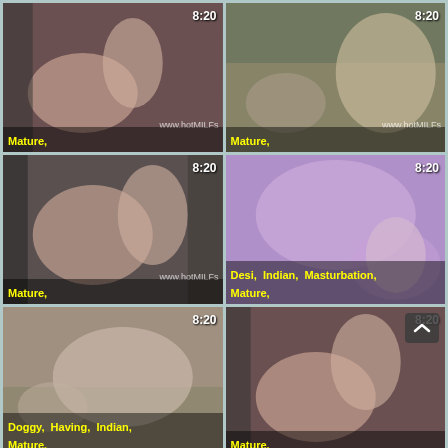[Figure (photo): Video thumbnail 1 with duration 8:20, tags: Mature, watermark: www.hotMILFs]
[Figure (photo): Video thumbnail 2 with duration 8:20, tags: Mature, watermark: www.hotMILFs]
[Figure (photo): Video thumbnail 3 with duration 8:20, tags: Mature, watermark: www.hotMILFs]
[Figure (photo): Video thumbnail 4 with duration 8:20, tags: Desi, Indian, Masturbation, Mature]
[Figure (photo): Video thumbnail 5 with duration 8:20, tags: Doggy, Having, Indian, Mature]
[Figure (photo): Video thumbnail 6 with duration 8:20, tags: Mature, with scroll-up button overlay]